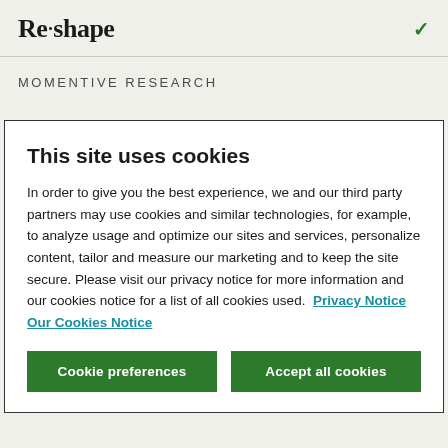Re·shape
MOMENTIVE RESEARCH
This site uses cookies
In order to give you the best experience, we and our third party partners may use cookies and similar technologies, for example, to analyze usage and optimize our sites and services, personalize content, tailor and measure our marketing and to keep the site secure. Please visit our privacy notice for more information and our cookies notice for a list of all cookies used.  Privacy Notice  Our Cookies Notice
Cookie preferences
Accept all cookies